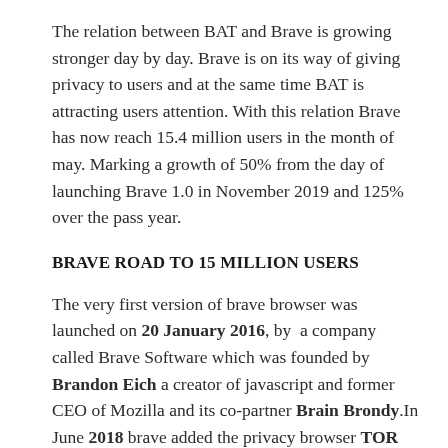The relation between BAT and Brave is growing stronger day by day. Brave is on its way of giving privacy to users and at the same time BAT is attracting users attention. With this relation Brave has now reach 15.4 million users in the month of may. Marking a growth of 50% from the day of launching Brave 1.0 in November 2019 and 125% over the pass year.
BRAVE ROAD TO 15 MILLION USERS
The very first version of brave browser was launched on 20 January 2016, by a company called Brave Software which was founded by Brandon Eich a creator of javascript and former CEO of Mozilla and its co-partner Brain Brondy.In June 2018 brave added the privacy browser TOR for their desktop version